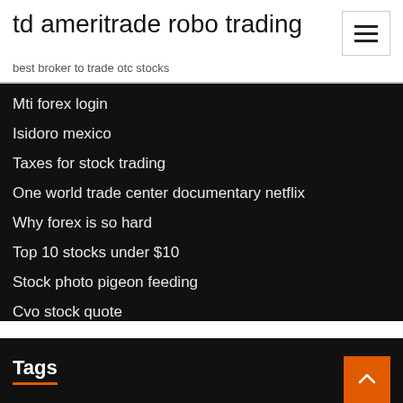td ameritrade robo trading
best broker to trade otc stocks
Mti forex login
Isidoro mexico
Taxes for stock trading
One world trade center documentary netflix
Why forex is so hard
Top 10 stocks under $10
Stock photo pigeon feeding
Cvo stock quote
Tags